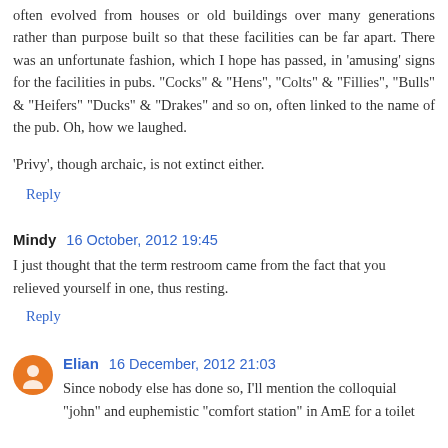often evolved from houses or old buildings over many generations rather than purpose built so that these facilities can be far apart. There was an unfortunate fashion, which I hope has passed, in 'amusing' signs for the facilities in pubs. "Cocks" & "Hens", "Colts" & "Fillies", "Bulls" & "Heifers" "Ducks" & "Drakes" and so on, often linked to the name of the pub. Oh, how we laughed.
'Privy', though archaic, is not extinct either.
Reply
Mindy  16 October, 2012 19:45
I just thought that the term restroom came from the fact that you relieved yourself in one, thus resting.
Reply
Elian  16 December, 2012 21:03
Since nobody else has done so, I'll mention the colloquial "john" and euphemistic "comfort station" in AmE for a toilet